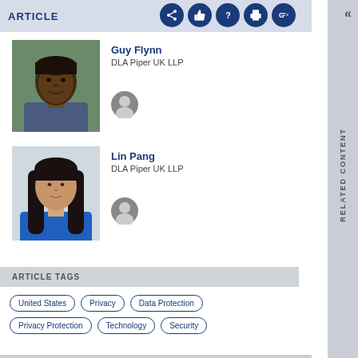ARTICLE
[Figure (photo): Headshot of Guy Flynn, a man with short hair wearing a suit]
Guy Flynn
DLA Piper UK LLP
[Figure (photo): Headshot of Lin Pang, a woman with long dark hair wearing a blue top]
Lin Pang
DLA Piper UK LLP
ARTICLE TAGS
United States
Privacy
Data Protection
Privacy Protection
Technology
Security